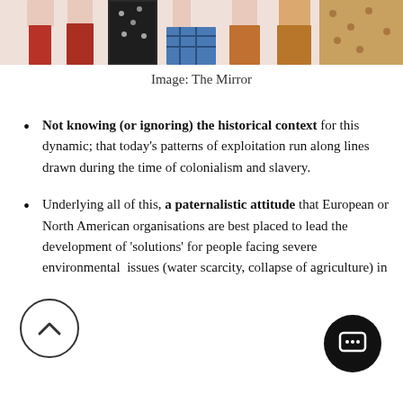[Figure (photo): Cropped photo showing the lower bodies of several people wearing colorful outfits — red trousers, patterned black-and-white dress, blue plaid skirt, orange trousers — against a white background.]
Image: The Mirror
Not knowing (or ignoring) the historical context for this dynamic; that today's patterns of exploitation run along lines drawn during the time of colonialism and slavery.
Underlying all of this, a paternalistic attitude that European or North American organisations are best placed to lead the development of 'solutions' for people facing severe environmental issues (water scarcity, collapse of agriculture) in